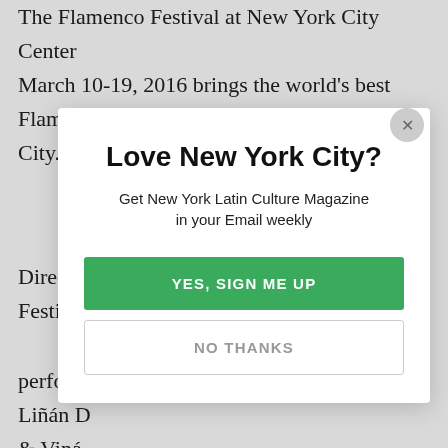The Flamenco Festival at New York City Center March 10-19, 2016 brings the world's best Flamenco dancers and musicians to New York City.
Direct from Andalusia, Spain, the Flamenco Festival at New York City Center includes perfor... Liñán ... & Viná...
Far...
March...
[Figure (screenshot): Modal popup overlay on an article page. Title: 'Love New York City?' Subtitle: 'Get New York Latin Culture Magazine in your Email weekly'. Green button: 'YES, SIGN ME UP'. White button: 'NO THANKS'. Close (X) button in top right of modal.]